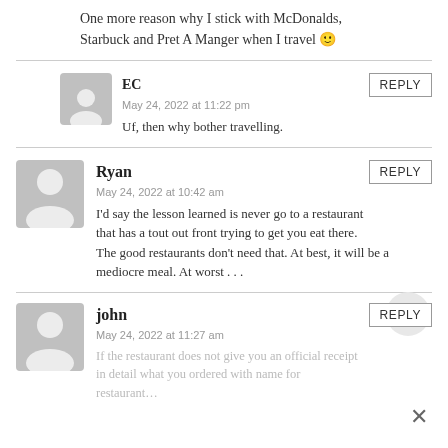One more reason why I stick with McDonalds, Starbuck and Pret A Manger when I travel 🙂
EC
May 24, 2022 at 11:22 pm
Uf, then why bother travelling.
Ryan
May 24, 2022 at 10:42 am
I'd say the lesson learned is never go to a restaurant that has a tout out front trying to get you eat there. The good restaurants don't need that. At best, it will be a mediocre meal. At worst . . .
john
May 24, 2022 at 11:27 am
If the restaurant does not give you an official receipt in detail what you ordered with name for restaurant…